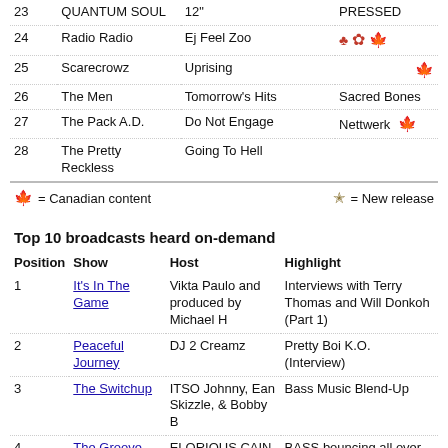| # | Artist | Album | Label |  |
| --- | --- | --- | --- | --- |
| 23 | QUANTUM SOUL | 12" | PRESSED |  |
| 24 | Radio Radio | Ej Feel Zoo |  | 🍁 |
| 25 | Scarecrowz | Uprising |  | 🍁 |
| 26 | The Men | Tomorrow's Hits | Sacred Bones |  |
| 27 | The Pack A.D. | Do Not Engage | Nettwerk | 🍁 |
| 28 | The Pretty Reckless | Going To Hell |  |  |
🍁 = Canadian content   ☆ = New release
Top 10 broadcasts heard on-demand
| Position | Show | Host | Highlight |
| --- | --- | --- | --- |
| 1 | It's In The Game | Vikta Paulo and produced by Michael H | Interviews with Terry Thomas and Will Donkoh (Part 1) |
| 2 | Peaceful Journey | DJ 2 Creamz | Pretty Boi K.O. (Interview) |
| 3 | The Switchup | ITSO Johnny, Ean Skizzle, & Bobby B | Bass Music Blend-Up |
| 4 | The Groove | ELORIOUS CAIN | BASS bouncing all over your brain!! (DUBSTER/GRIME) |